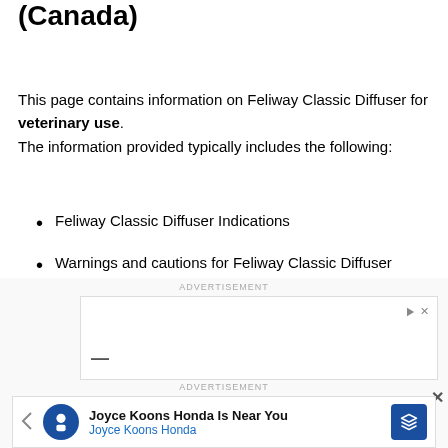(Canada)
This page contains information on Feliway Classic Diffuser for veterinary use.
The information provided typically includes the following:
Feliway Classic Diffuser Indications
Warnings and cautions for Feliway Classic Diffuser
Direction and dosage information for Feliway Classic Diffuser
[Figure (other): Advertisement banner showing Joyce Koons Honda Is Near You ad with Honda logo and navigation arrows]